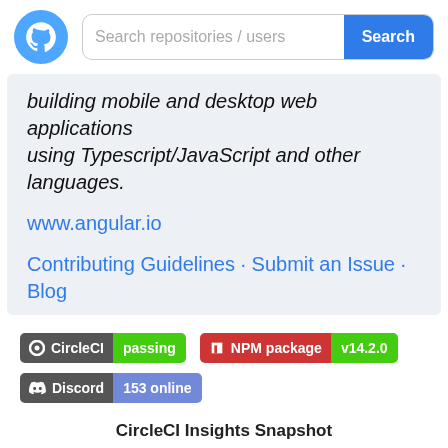[Figure (screenshot): GitHub logo white cat icon on blue circle background]
Search repositories / users
building mobile and desktop web applications
using Typescript/JavaScript and other languages.
www.angular.io
Contributing Guidelines · Submit an Issue · Blog
[Figure (infographic): CircleCI badge: passing (dark/green), NPM package badge: v14.2.0 (red/green), Discord badge: 153 online (dark/blue)]
CircleCI Insights Snapshot